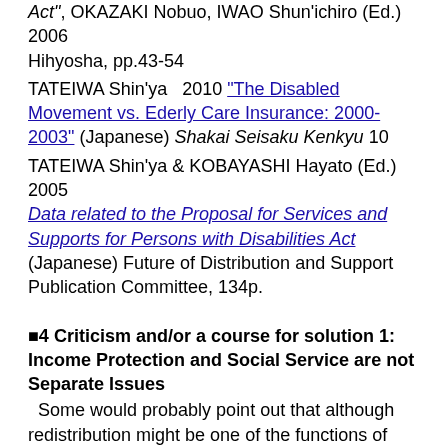Act", OKAZAKI Nobuo, IWAO Shun'ichiro (Ed.) 2006 Hihyosha, pp.43-54
TATEIWA Shin'ya   2010 "The Disabled Movement vs. Ederly Care Insurance: 2000-2003" (Japanese) Shakai Seisaku Kenkyu 10
TATEIWA Shin'ya & KOBAYASHI Hayato (Ed.) 2005 Data related to the Proposal for Services and Supports for Persons with Disabilities Act (Japanese) Future of Distribution and Support Publication Committee, 134p.
■4 Criticism and/or a course for solution 1: Income Protection and Social Service are not Separate Issues
Some would probably point out that although redistribution might be one of the functions of tax, social service is another matter altogether. But that view is highly problematic. And the fact that there is a misunderstanding about this issue is the very context that shaped the recent developments that are described above. I have already stated in several texts that there is